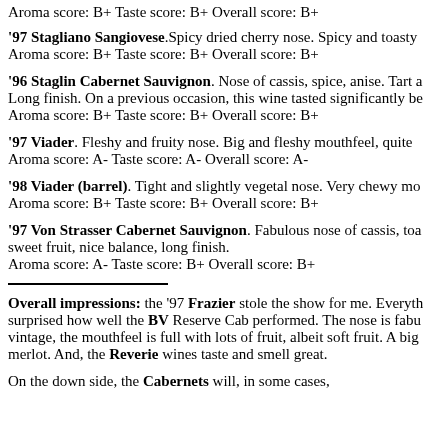Aroma score: B+ Taste score: B+ Overall score: B+
'97 Stagliano Sangiovese. Spicy dried cherry nose. Spicy and toasty. Aroma score: B+ Taste score: B+ Overall score: B+
'96 Staglin Cabernet Sauvignon. Nose of cassis, spice, anise. Tart and Long finish. On a previous occasion, this wine tasted significantly be. Aroma score: B+ Taste score: B+ Overall score: B+
'97 Viader. Fleshy and fruity nose. Big and fleshy mouthfeel, quite. Aroma score: A- Taste score: A- Overall score: A-
'98 Viader (barrel). Tight and slightly vegetal nose. Very chewy mo. Aroma score: B+ Taste score: B+ Overall score: B+
'97 Von Strasser Cabernet Sauvignon. Fabulous nose of cassis, toa sweet fruit, nice balance, long finish. Aroma score: A- Taste score: B+ Overall score: B+
Overall impressions: the '97 Frazier stole the show for me. Everything surprised how well the BV Reserve Cab performed. The nose is fabu vintage, the mouthfeel is full with lots of fruit, albeit soft fruit. A big merlot. And, the Reverie wines taste and smell great.
On the down side, the Cabernets will, in some cases, certainly be